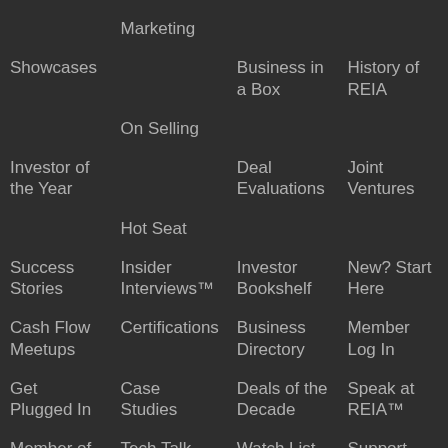Marketing
Showcases
Business in a Box
History of REIA
On Selling
Investor of the Year
Deal Evaluations
Joint Ventures
Hot Seat
Success Stories
Investor Bookshelf
New? Start Here
Insider Interviews™
Cash Flow Meetups
Business Directory
Member Log In
Certifications
Get Plugged In
Deals of the Decade
Speak at REIA™
Case Studies
Member of Month
Watch List
Support
Tech Talk